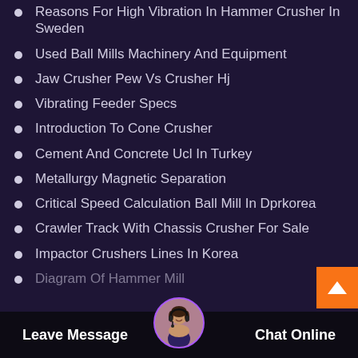Reasons For High Vibration In Hammer Crusher In Sweden
Used Ball Mills Machinery And Equipment
Jaw Crusher Pew Vs Crusher Hj
Vibrating Feeder Specs
Introduction To Cone Crusher
Cement And Concrete Ucl In Turkey
Metallurgy Magnetic Separation
Critical Speed Calculation Ball Mill In Dprkorea
Crawler Track With Chassis Crusher For Sale
Impactor Crushers Lines In Korea
Diagram Of Hammer Mill
Leave Message   Chat Online